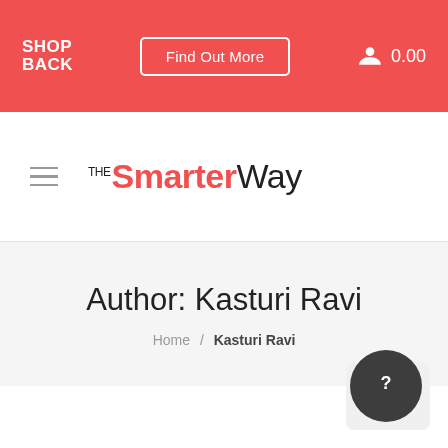SHOPBACK | Find Out More | 0.00
THE Smarter Way
Author: Kasturi Ravi
Home / Kasturi Ravi